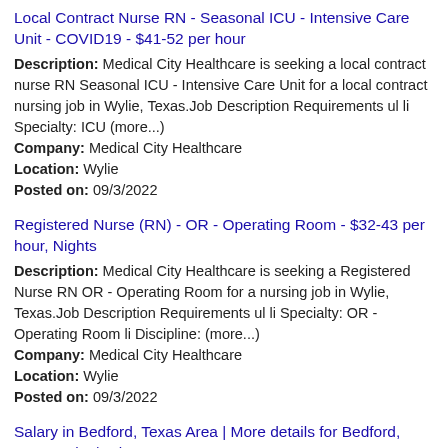Local Contract Nurse RN - Seasonal ICU - Intensive Care Unit - COVID19 - $41-52 per hour
Description: Medical City Healthcare is seeking a local contract nurse RN Seasonal ICU - Intensive Care Unit for a local contract nursing job in Wylie, Texas.Job Description Requirements ul li Specialty: ICU (more...)
Company: Medical City Healthcare
Location: Wylie
Posted on: 09/3/2022
Registered Nurse (RN) - OR - Operating Room - $32-43 per hour, Nights
Description: Medical City Healthcare is seeking a Registered Nurse RN OR - Operating Room for a nursing job in Wylie, Texas.Job Description Requirements ul li Specialty: OR - Operating Room li Discipline: (more...)
Company: Medical City Healthcare
Location: Wylie
Posted on: 09/3/2022
Salary in Bedford, Texas Area | More details for Bedford, Texas Jobs |Salary
Cotton Patch Cafe - Server